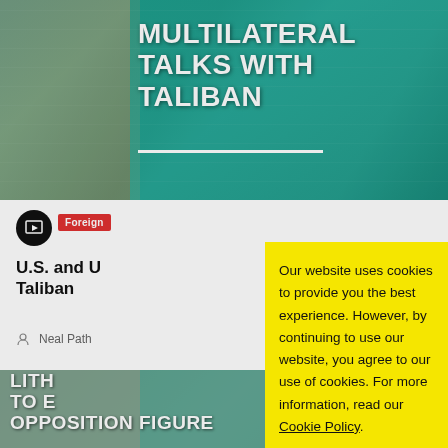[Figure (photo): Banner image with teal overlay showing city scene, with bold white title text 'MULTILATERAL TALKS WITH TALIBAN']
MULTILATERAL TALKS WITH TALIBAN
Foreign
U.S. and [U.N./Partners Seek] Multilateral Talks with Taliban
Neal Path[ak]
[Figure (photo): Photo of crowd/people with teal overlay, with bold white text 'LITH[UANIA] TO E[XPEL] OPPOSITION FIGURE']
Our website uses cookies to provide you the best experience. However, by continuing to use our website, you agree to our use of cookies. For more information, read our Cookie Policy.
Accept